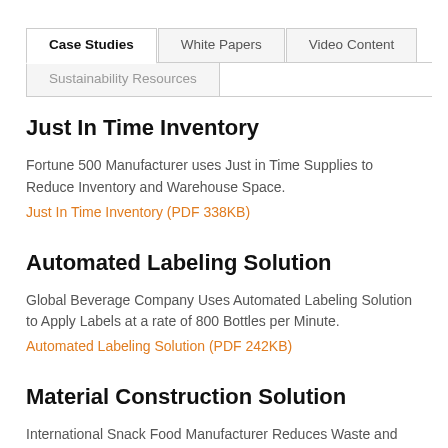Case Studies | White Papers | Video Content | Sustainability Resources
Just In Time Inventory
Fortune 500 Manufacturer uses Just in Time Supplies to Reduce Inventory and Warehouse Space.
Just In Time Inventory (PDF 338KB)
Automated Labeling Solution
Global Beverage Company Uses Automated Labeling Solution to Apply Labels at a rate of 800 Bottles per Minute.
Automated Labeling Solution (PDF 242KB)
Material Construction Solution
International Snack Food Manufacturer Reduces Waste and Increases Consumer Satisfaction.